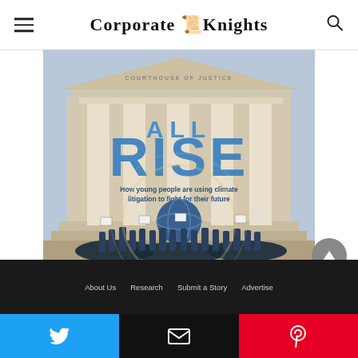Corporate Knights
[Figure (illustration): Illustrated magazine cover showing 'ALL RISE' in large blue letters on a courthouse facade with columns. Young protesters hold signs and a globe, with the subtitle 'How young people are using climate litigation to fight for their future']
About Us   Research   Submit a Story   Advertise